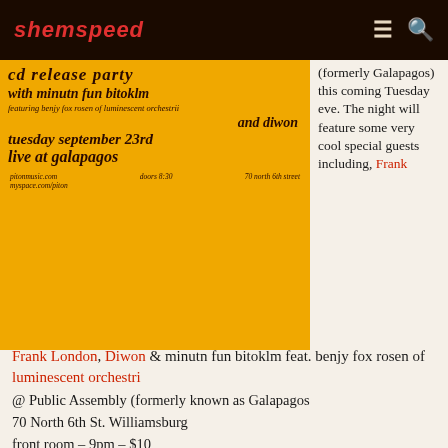shemspeed
[Figure (photo): Yellow concert flyer for a CD release party featuring minutn fun bitoklm with benjy fox rosen of luminescent orchestrii and diwon, Tuesday September 23rd, live at Galapagos, doors 8:30, 70 North 6th Street, pitonmusic.com, myspace.com/piton]
(formerly Galapagos) this coming Tuesday eve. The night will feature some very cool special guests including, Frank London, Diwon & minutn fun bitoklm feat. benjy fox rosen of luminescent orchestri
@ Public Assembly (formerly known as Galapagos
70 North 6th St. Williamsburg
front room – 9pm – $10